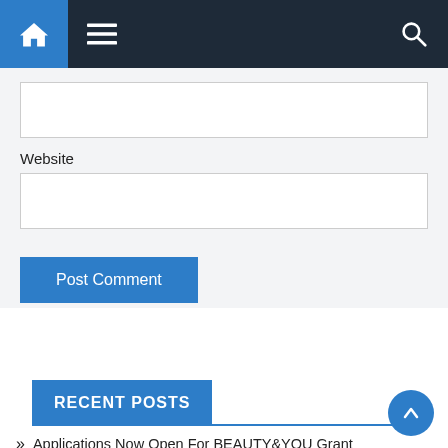[Figure (screenshot): Website navigation bar with home icon, hamburger menu icon on dark background, and search icon on right]
Website
[Figure (screenshot): Two input text fields (one unlabeled at top, one labeled Website) and a Post Comment button]
[Figure (screenshot): Search bar with placeholder 'Search ...' and a blue Search button]
RECENT POSTS
Applications Now Open For BEAUTY&YOU Grant Program by Estee Lauder Group of Companies and Nykaa